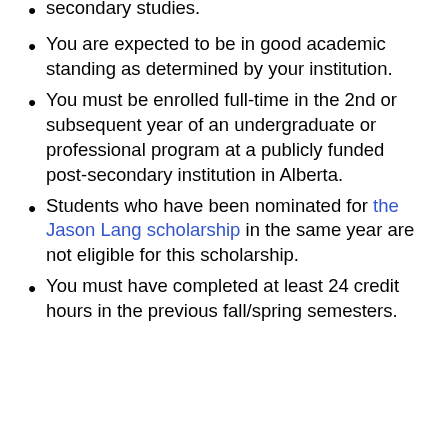secondary studies.
You are expected to be in good academic standing as determined by your institution.
You must be enrolled full-time in the 2nd or subsequent year of an undergraduate or professional program at a publicly funded post-secondary institution in Alberta.
Students who have been nominated for the Jason Lang scholarship in the same year are not eligible for this scholarship.
You must have completed at least 24 credit hours in the previous fall/spring semesters.